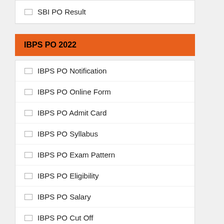SBI PO Result
IBPS PO 2022
IBPS PO Notification
IBPS PO Online Form
IBPS PO Admit Card
IBPS PO Syllabus
IBPS PO Exam Pattern
IBPS PO Eligibility
IBPS PO Salary
IBPS PO Cut Off
IBPS PO Previous Year Question Paper
IBPS PO Result